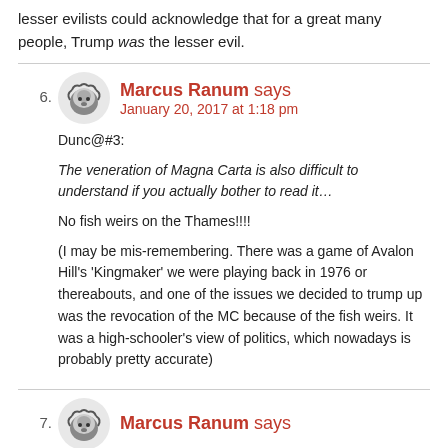lesser evilists could acknowledge that for a great many people, Trump was the lesser evil.
6. Marcus Ranum says
January 20, 2017 at 1:18 pm
Dunc@#3:
The veneration of Magna Carta is also difficult to understand if you actually bother to read it…
No fish weirs on the Thames!!!!
(I may be mis-remembering. There was a game of Avalon Hill's 'Kingmaker' we were playing back in 1976 or thereabouts, and one of the issues we decided to trump up was the revocation of the MC because of the fish weirs. It was a high-schooler's view of politics, which nowadays is probably pretty accurate)
7. Marcus Ranum says